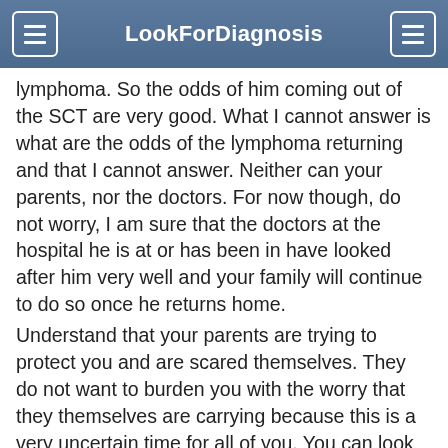LookForDiagnosis
lymphoma. So the odds of him coming out of the SCT are very good. What I cannot answer is what are the odds of the lymphoma returning and that I cannot answer. Neither can your parents, nor the doctors. For now though, do not worry, I am sure that the doctors at the hospital he is at or has been in have looked after him very well and your family will continue to do so once he returns home.
Understand that your parents are trying to protect you and are scared themselves. They do not want to burden you with the worry that they themselves are carrying because this is a very uncertain time for all of you. You can look up the process of a SCT, there is some good info out there and it will reassure you that your cousin will be debilitated, but ok after the SCT. He may be tired and not want visitors, but that doesn't mean anything, he's just recovering.
I am sorry that your family are going through this right now, I hope that I have been able to reassure you in a little way. If you need any more info or reassurance you can e mail me privately. Hope and prayers for you all.  (+ info)